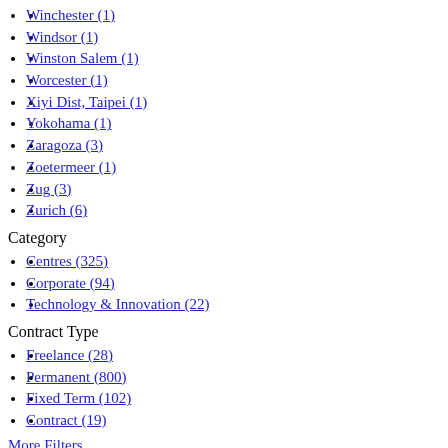Winchester (1)
Windsor (1)
Winston Salem (1)
Worcester (1)
Xiyi Dist, Taipei (1)
Yokohama (1)
Zaragoza (3)
Zoetermeer (1)
Zug (3)
Zurich (6)
Category
Centres (325)
Corporate (94)
Technology & Innovation (22)
Contract Type
Freelance (28)
Permanent (800)
Fixed Term (102)
Contract (19)
More Filters